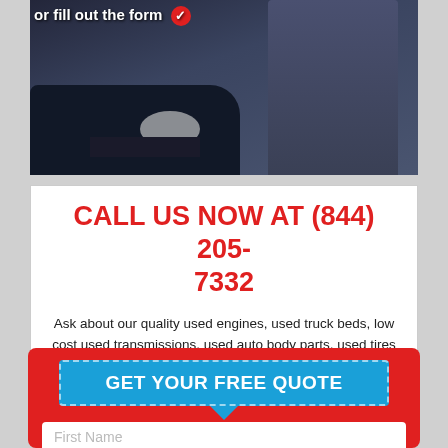[Figure (photo): A mechanic or auto technician in blue overalls holding a tablet and coffee cup, standing near the front of a dark car with headlights visible. Text overlay at top reads 'or fill out the form' with a red icon.]
CALL US NOW AT (844) 205-7332
Ask about our quality used engines, used truck beds, low cost used transmissions, used auto body parts, used tires and used wheels. Check out our warranty!
GET YOUR FREE QUOTE
First Name